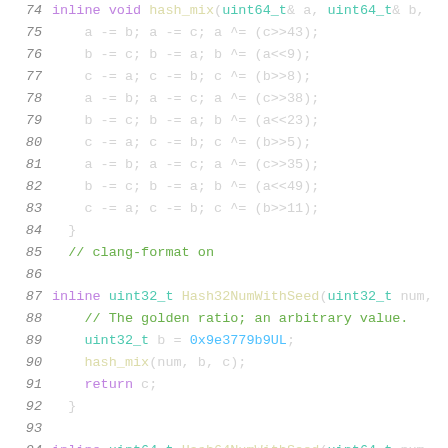[Figure (screenshot): Source code snippet showing C++ hash mixing functions with syntax highlighting. Lines 74-95 are visible. Contains hash_mix function body with bitwise operations, clang-format comment, Hash32NumWithSeed function, and beginning of Hash64NumWithSeed function.]